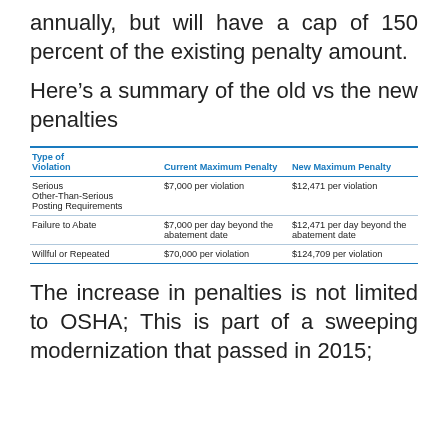annually, but will have a cap of 150 percent of the existing penalty amount.
Here’s a summary of the old vs the new penalties
| Type of Violation | Current Maximum Penalty | New Maximum Penalty |
| --- | --- | --- |
| Serious
Other-Than-Serious
Posting Requirements | $7,000 per violation | $12,471 per violation |
| Failure to Abate | $7,000 per day beyond the abatement date | $12,471 per day beyond the abatement date |
| Willful or Repeated | $70,000 per violation | $124,709 per violation |
The increase in penalties is not limited to OSHA; This is part of a sweeping modernization that passed in 2015;